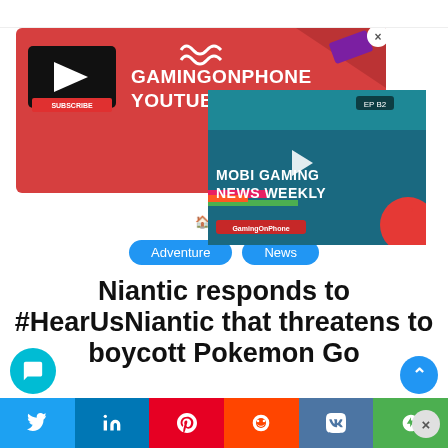[Figure (screenshot): GamingOnPhone YouTube channel banner with red background, YouTube logo/subscribe button, title text 'GAMINGONPHONE YOUTUBE', wavy decoration]
[Figure (screenshot): Mobile Gaming News Weekly popup video thumbnail, EP B2 label, play button, teal/colorful background]
Home /
Adventure   News
Niantic responds to #HearUsNiantic that threatens to boycott Pokemon Go
Fans can look forward to the final resolution
[Figure (screenshot): Bottom social share bar with Twitter, LinkedIn, Pinterest, Reddit, VK, and other share buttons]